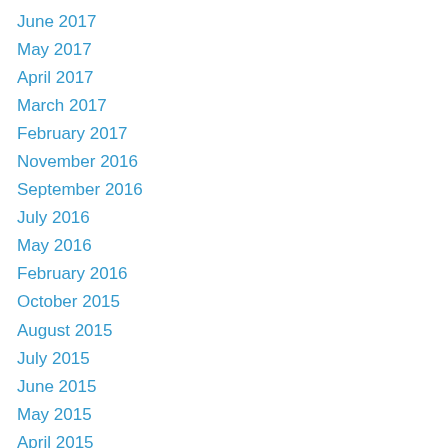June 2017
May 2017
April 2017
March 2017
February 2017
November 2016
September 2016
July 2016
May 2016
February 2016
October 2015
August 2015
July 2015
June 2015
May 2015
April 2015
March 2015
February 2015
July 2014
June 2014